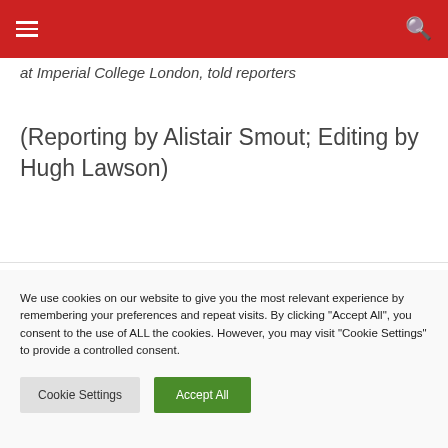≡  [menu]  [search icon]
at Imperial College London, told reporters
(Reporting by Alistair Smout; Editing by Hugh Lawson)
We use cookies on our website to give you the most relevant experience by remembering your preferences and repeat visits. By clicking "Accept All", you consent to the use of ALL the cookies. However, you may visit "Cookie Settings" to provide a controlled consent.